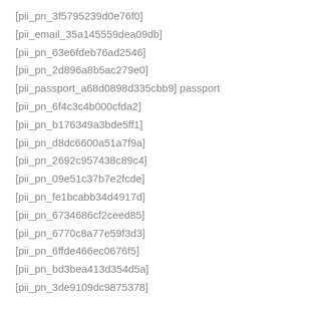[pii_pn_3f5795239d0e76f0]
[pii_email_35a145559dea09db]
[pii_pn_63e6fdeb76ad2546]
[pii_pn_2d896a8b5ac279e0]
[pii_passport_a68d0898d335cbb9] passport
[pii_pn_6f4c3c4b000cfda2]
[pii_pn_b176349a3bde5ff1]
[pii_pn_d8dc6600a51a7f9a]
[pii_pn_2692c957438c89c4]
[pii_pn_09e51c37b7e2fcde]
[pii_pn_fe1bcabb34d4917d]
[pii_pn_6734686cf2ceed85]
[pii_pn_6770c8a77e59f3d3]
[pii_pn_6ffde466ec0676f5]
[pii_pn_bd3bea413d354d5a]
[pii_pn_3de9109dc9875378]